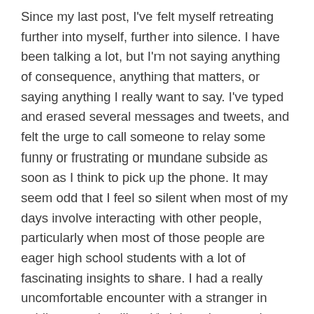Since my last post, I've felt myself retreating further into myself, further into silence. I have been talking a lot, but I'm not saying anything of consequence, anything that matters, or saying anything I really want to say. I've typed and erased several messages and tweets, and felt the urge to call someone to relay some funny or frustrating or mundane subside as soon as I think to pick up the phone. It may seem odd that I feel so silent when most of my days involve interacting with other people, particularly when most of those people are eager high school students with a lot of fascinating insights to share. I had a really uncomfortable encounter with a stranger in public yesterday (I'm ok). I thought a good cry would help me feel less agitated, but I couldn't get any tears out.*
But I'm still here, and still writing for myself, for this blog, and for you.